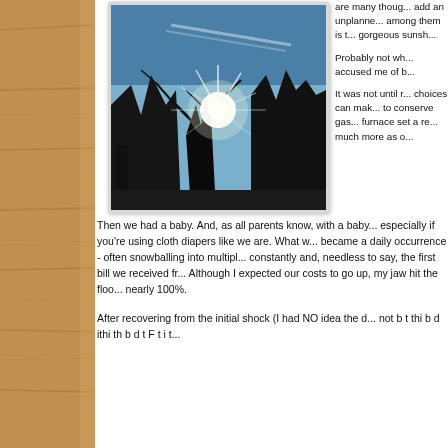[Figure (photo): Outdoor photo of trees silhouetted against a bright sunburst sky, with sunlight streaming through branches]
are many thoug... add an unplanne... among them is t... gorgeous sunsh...
Probably not wh... accused me of b...
It was not until r... choices can mak... to conserve gas... furnace set a re... much more as o...
Then we had a baby. And, as all parents know, with a baby... especially if you're using cloth diapers like we are. What w... became a daily occurrence - often snowballing into multipl... constantly and, needless to say, the first bill we received fr... Although I expected our costs to go up, my jaw hit the floo... nearly 100%.
After recovering from the initial shock (I had NO idea the d... not b t thi b d ithi th b d t F t i t...